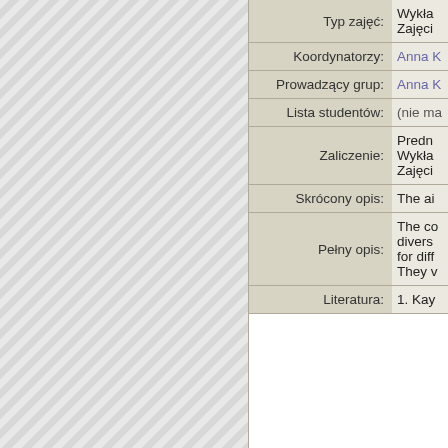| Label | Value |
| --- | --- |
| Typ zajęć: | Wykła
Zajęci |
| Koordynatorzy: | Anna K |
| Prowadzący grup: | Anna K |
| Lista studentów: | (nie ma |
| Zaliczenie: | Predn
Wykła
Zajęci |
| Skrócony opis: | The ai |
| Pełny opis: | The co
divers
for diff
They v |
| Literatura: | 1. Kay |